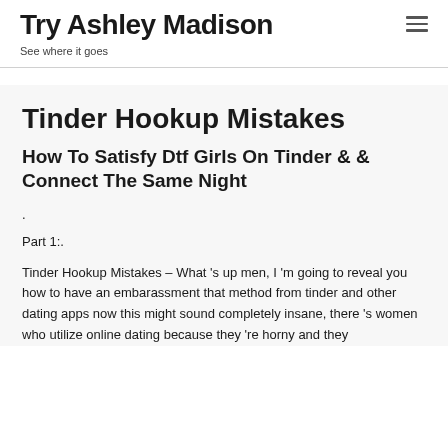Try Ashley Madison
See where it goes
Tinder Hookup Mistakes
How To Satisfy Dtf Girls On Tinder & & Connect The Same Night
.
Part 1:.
Tinder Hookup Mistakes – What ’s up men, I ’m going to reveal you how to have an embarassment that method from tinder and other dating apps now this might sound completely insane, there ’s women who utilize online dating because they ’re horny and they